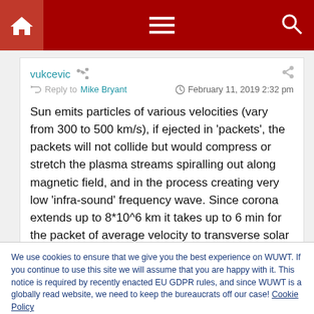WUWT navigation bar with home, menu, and search icons
vukcevic
Reply to Mike Bryant  February 11, 2019 2:32 pm
Sun emits particles of various velocities (vary from 300 to 500 km/s), if ejected in ‘packets’, the packets will not collide but would compress or stretch the plasma streams spiralling out along magnetic field, and in the process creating very low ‘infra-sound’ frequency wave. Since corona extends up to 8*10^6 km it takes up to 6 min for the packet of average velocity to transverse solar corona.
We use cookies to ensure that we give you the best experience on WUWT. If you continue to use this site we will assume that you are happy with it. This notice is required by recently enacted EU GDPR rules, and since WUWT is a globally read website, we need to keep the bureaucrats off our case! Cookie Policy
Close and accept
correction: it takes up to 6 h for the packet of average velocity